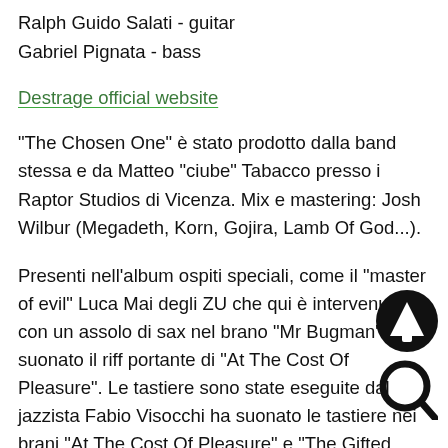Ralph Guido Salati - guitar
Gabriel Pignata - bass
Destrage official website
"The Chosen One" è stato prodotto dalla band stessa e da Matteo "ciube" Tabacco presso i Raptor Studios di Vicenza. Mix e mastering: Josh Wilbur (Megadeth, Korn, Gojira, Lamb Of God...).
Presenti nell'album ospiti speciali, come il "master of evil" Luca Mai degli ZU che qui è intervenuto con un assolo di sax nel brano "Mr Bugman" e suonato il riff portante di "At The Cost Of Pleasure". Le tastiere sono state eseguite dal jazzista Fabio Visocchi ha suonato le tastiere nei brani "At The Cost Of Pleasure" e "The Gifted One", mentre le parti di elettronica sono state curate da Fabrizio "Izio" Pagni.